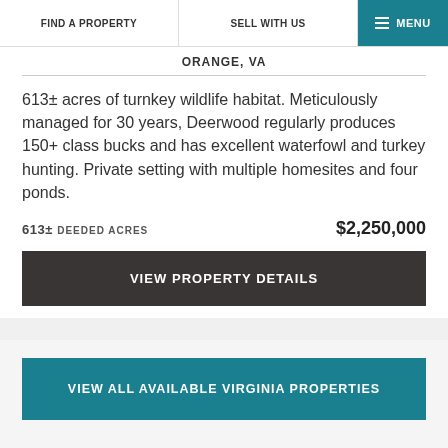FIND A PROPERTY | SELL WITH US | MENU
ORANGE, VA
613± acres of turnkey wildlife habitat. Meticulously managed for 30 years, Deerwood regularly produces 150+ class bucks and has excellent waterfowl and turkey hunting. Private setting with multiple homesites and four ponds.
613± DEEDED ACRES   $2,250,000
VIEW PROPERTY DETAILS
VIEW ALL AVAILABLE VIRGINIA PROPERTIES